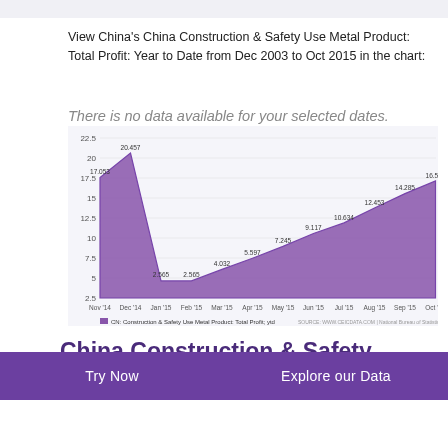View China's China Construction & Safety Use Metal Product: Total Profit: Year to Date from Dec 2003 to Oct 2015 in the chart:
There is no data available for your selected dates.
[Figure (area-chart): CN: Construction & Safety Use Metal Product: Total Profit; ytd]
China Construction & Safety Use Metal Product: Total
Try Now   Explore our Data